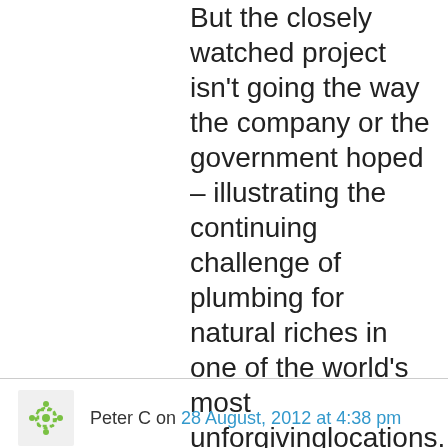But the closely watched project isn't going the way the company or the government hoped – illustrating the continuing challenge of plumbing for natural riches in one of the world's most unforgivinglocations. Sea ice in the Chukchi and Beaufort seas off the northern Alaska coast was slow to break up this year, leaving the drilling areas inaccessible much later than anticipated.
Peter C on 28 August, 2012 at 4:38 pm
I am currently in the UK. The BBC got their first